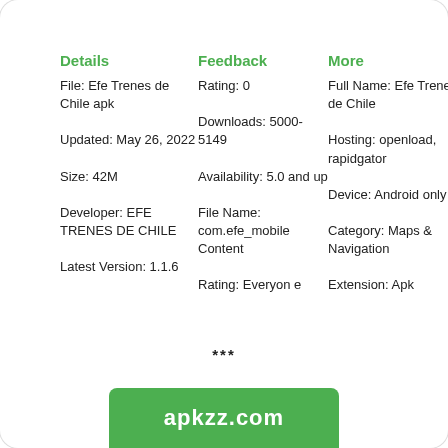Details
File: Efe Trenes de Chile apk
Updated: May 26, 2022
Size: 42M
Developer: EFE TRENES DE CHILE
Latest Version: 1.1.6
Feedback
Rating: 0
Downloads: 5000-5149
Availability: 5.0 and up
File Name: com.efe_mobile Content
Rating: Everyone
More
Full Name: Efe Trenes de Chile
Hosting: openload, rapidgator
Device: Android only
Category: Maps & Navigation
Extension: Apk
***
[Figure (other): Green button with text apkzz.com]